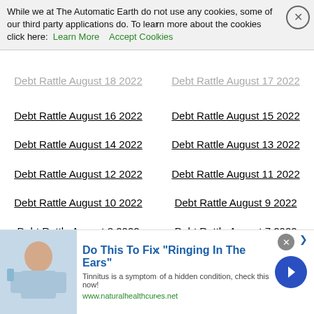While we at The Automatic Earth do not use any cookies, some of our third party applications do. To learn more about the cookies click here: Learn More   Accept Cookies
Debt Rattle August 19 2022
Debt Rattle August 18 2022
Debt Rattle August 17 2022
Debt Rattle August 16 2022
Debt Rattle August 15 2022
Debt Rattle August 14 2022
Debt Rattle August 13 2022
Debt Rattle August 12 2022
Debt Rattle August 11 2022
Debt Rattle August 10 2022
Debt Rattle August 9 2022
Debt Rattle August 8 2022
Debt Rattle August 7 2022
A Winter of Anger
Debt Rattle August 6 2022
Debt Rattle August 5 2022
Debt Rattle August 4 2022
Debt Rattle August 3 2022
Debt Rattle August 2 2022
Theater Opening
Debt Rattle August 1 2022
Debt Rattle July 31 2022
Debt Rattle July 30 2022
Debt Rattle July 29 2022
Debt Rattle July 28 2022
[Figure (photo): Advertisement banner: person fixing ears/tinnitus. Text: Do This To Fix Ringing In The Ears - Tinnitus is a symptom of a hidden condition, check this now! www.naturalhealthcures.net]